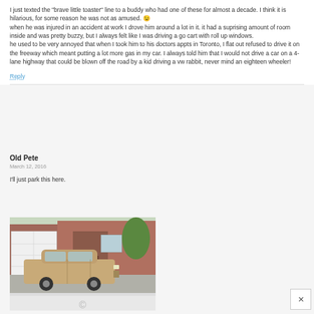I just texted the "brave little toaster" line to a buddy who had one of these for almost a decade. I think it is hilarious, for some reason he was not as amused. 😉 when he was injured in an accident at work I drove him around a lot in it. it had a suprising amount of room inside and was pretty buzzy, but I always felt like I was driving a go cart with roll up windows. he used to be very annoyed that when I took him to his doctors appts in Toronto, I flat out refused to drive it on the freeway which meant putting a lot more gas in my car. I always told him that I would not drive a car on a 4-lane highway that could be blown off the road by a kid driving a vw rabbit, never mind an eighteen wheeler!
Reply
Old Pete
March 12, 2016
I'll just park this here.
[Figure (photo): A small tan/gold hatchback car (possibly a Toyota or similar 1980s compact) parked in a driveway in front of a brick house with a white garage door.]